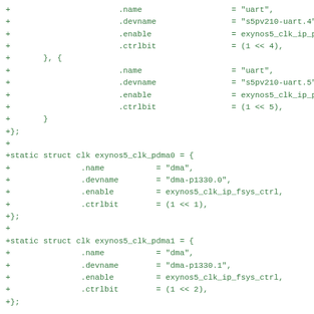+			.name			= "uart",
+			.devname		= "s5pv210-uart.4",
+			.enable			= exynos5_clk_ip_peric_ctrl,
+			.ctrlbit		= (1 << 4),
+	}, {
+			.name			= "uart",
+			.devname		= "s5pv210-uart.5",
+			.enable			= exynos5_clk_ip_peric_ctrl,
+			.ctrlbit		= (1 << 5),
+	}
+};
+
+static struct clk exynos5_clk_pdma0 = {
+		.name		= "dma",
+		.devname	= "dma-p1330.0",
+		.enable		= exynos5_clk_ip_fsys_ctrl,
+		.ctrlbit	= (1 << 1),
+};
+
+static struct clk exynos5_clk_pdma1 = {
+		.name		= "dma",
+		.devname	= "dma-p1330.1",
+		.enable		= exynos5_clk_ip_fsys_ctrl,
+		.ctrlbit	= (1 << 2),
+};